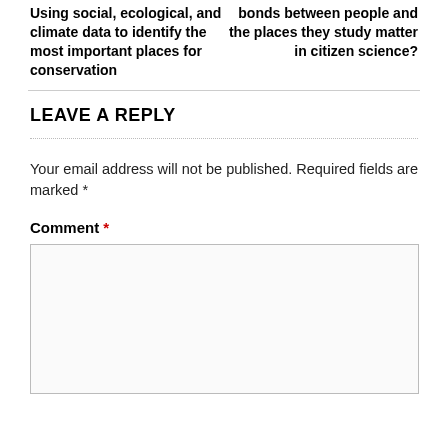Using social, ecological, and climate data to identify the most important places for conservation
bonds between people and the places they study matter in citizen science?
LEAVE A REPLY
Your email address will not be published. Required fields are marked *
Comment *